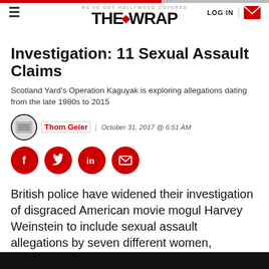WE'VE GOT HOLLYWOOD COVERED — THE WRAP — LOG IN
Investigation: 11 Sexual Assault Claims
Scotland Yard's Operation Kaguyak is exploring allegations dating from the late 1980s to 2015
Thom Geier | October 31, 2017 @ 6:51 AM
[Figure (infographic): Social sharing icons: Facebook, Twitter, LinkedIn, Email — all red circles with white icons]
British police have widened their investigation of disgraced American movie mogul Harvey Weinstein to include sexual assault allegations by seven different women, according to U.K. media reports.
According to the Guardian, authorities at Scotland